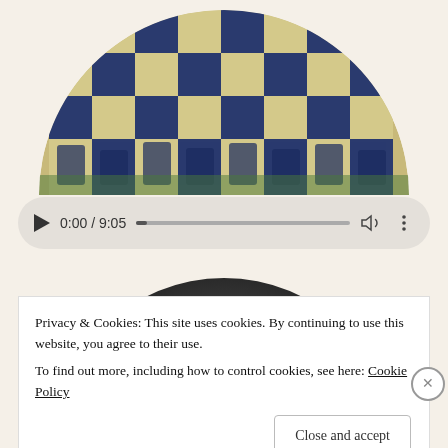[Figure (photo): A circular-cropped aerial or overhead photo of a chess board with chess pieces arranged on it, blue and white/cream squares visible, pieces appearing as figurines in blue and white costumes.]
[Figure (screenshot): An audio player bar showing play button, time display '0:00 / 9:05', a progress bar (nearly at start), volume icon, and a three-dot menu icon. Background is light grey/beige with rounded pill shape.]
[Figure (photo): Partially visible circular-cropped photo below the audio player, showing a dark grey rounded top of what appears to be a head or object, cropped by the cookie banner overlay.]
Privacy & Cookies: This site uses cookies. By continuing to use this website, you agree to their use.
To find out more, including how to control cookies, see here: Cookie Policy
Close and accept